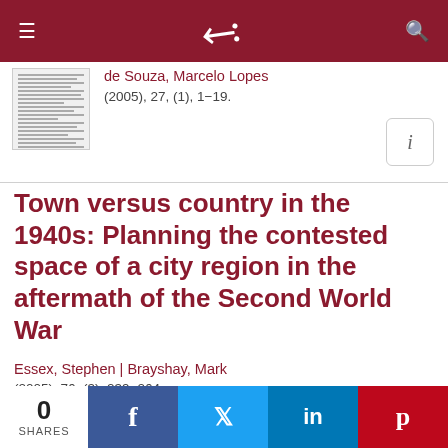Navigation bar with menu, logo, and search icons
de Souza, Marcelo Lopes
(2005), 27, (1), 1−19.
Town versus country in the 1940s: Planning the contested space of a city region in the aftermath of the Second World War
Essex, Stephen | Brayshay, Mark
(2005), 76, (3), 239−264.
0 SHARES  Facebook  Twitter  LinkedIn  Pinterest